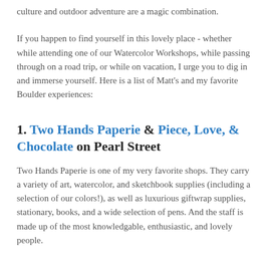culture and outdoor adventure are a magic combination.
If you happen to find yourself in this lovely place - whether while attending one of our Watercolor Workshops, while passing through on a road trip, or while on vacation, I urge you to dig in and immerse yourself.  Here is a list of Matt's and my favorite Boulder experiences:
1. Two Hands Paperie & Piece, Love, & Chocolate on Pearl Street
Two Hands Paperie is one of my very favorite shops.  They carry a variety of art, watercolor, and sketchbook supplies (including a selection of our colors!), as well as luxurious giftwrap supplies, stationary, books, and a wide selection of pens.  And the staff is made up of the most knowledgable, enthusiastic, and lovely people.